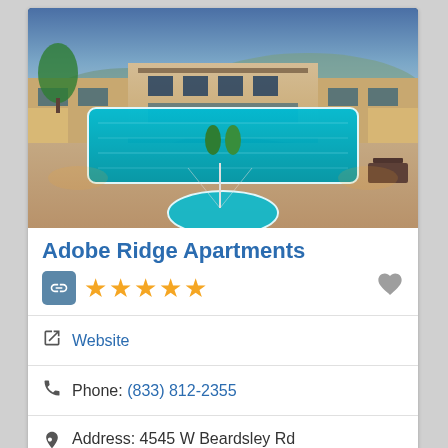[Figure (photo): Outdoor swimming pool area of Adobe Ridge Apartments at dusk, showing illuminated pool with blue water, landscaping, and building facade]
Adobe Ridge Apartments
5 stars rating, link icon, heart/favorite icon
Website
Phone: (833) 812-2355
Address: 4545 W Beardsley Rd Glendale